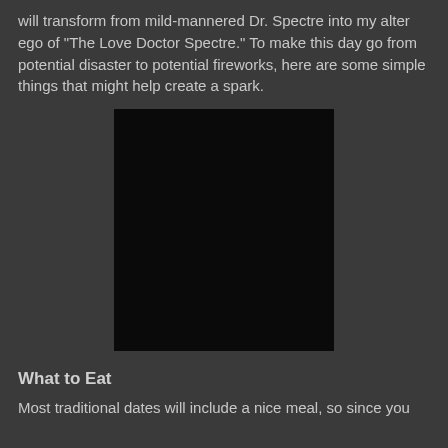will transform from mild-mannered Dr. Spectre into my alter ego of "The Love Doctor Spectre." To make this day go from potential disaster to potential fireworks, here are some simple things that might help create a spark.
[Figure (photo): A large black rectangular image placeholder]
What to Eat
Most traditional dates will include a nice meal, so since you